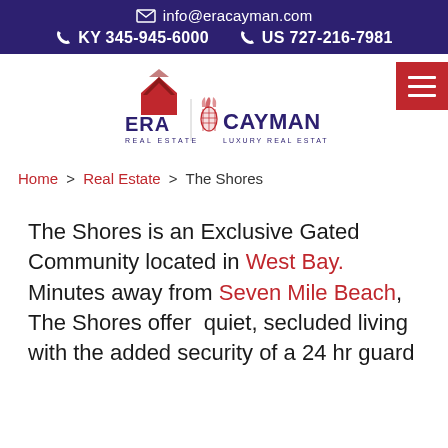info@eracayman.com  KY 345-945-6000  US 727-216-7981
[Figure (logo): ERA Cayman Luxury Real Estate logo with red house/arrow icon and pineapple graphic]
Home > Real Estate > The Shores
The Shores is an Exclusive Gated Community located in West Bay.  Minutes away from Seven Mile Beach, The Shores offer  quiet, secluded living with the added security of a 24 hr guard